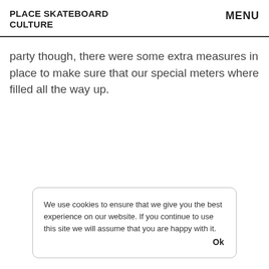PLACE SKATEBOARD CULTURE   MENU
party though, there were some extra measures in place to make sure that our special meters where filled all the way up.
We use cookies to ensure that we give you the best experience on our website. If you continue to use this site we will assume that you are happy with it.   Ok